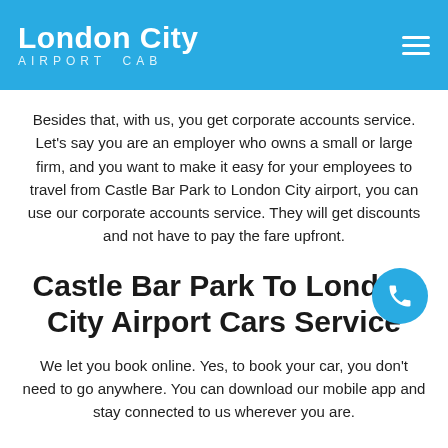London City AIRPORT CAB
Besides that, with us, you get corporate accounts service. Let's say you are an employer who owns a small or large firm, and you want to make it easy for your employees to travel from Castle Bar Park to London City airport, you can use our corporate accounts service. They will get discounts and not have to pay the fare upfront.
Castle Bar Park To London City Airport Cars Service
We let you book online. Yes, to book your car, you don't need to go anywhere. You can download our mobile app and stay connected to us wherever you are.